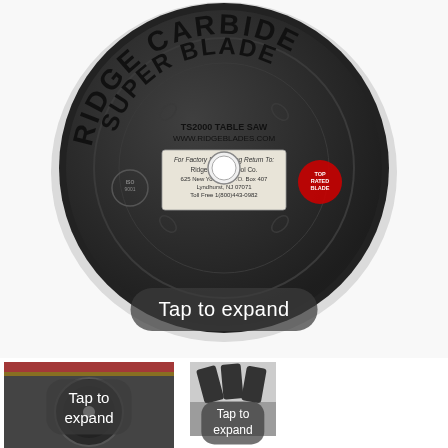[Figure (photo): Ridge Carbide Super Blade circular saw blade for TS2000 Table Saw, dark gray/black blade with carbide teeth around perimeter and center hole. Text on blade reads: RIDGE CARBIDE SUPER BLADE, TS2000 TABLE SAW, WWW.RIDGEBLADES.COM, and sharpening return address label in center.]
Tap to expand
[Figure (photo): Thumbnail photo showing the saw blade in use or alternate angle view with dark overlay and Tap to expand label]
[Figure (photo): Thumbnail photo showing close-up of carbide teeth on the blade with Tap to expand label partially visible]